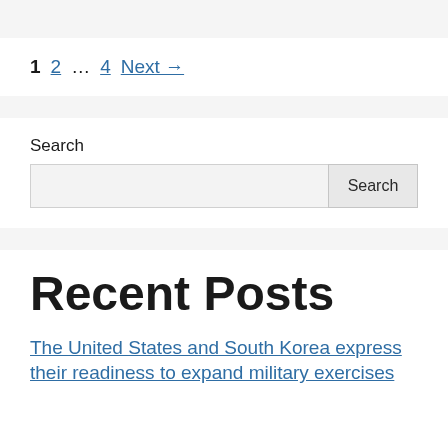1  2  ...  4  Next →
Search
Recent Posts
The United States and South Korea express their readiness to expand military exercises